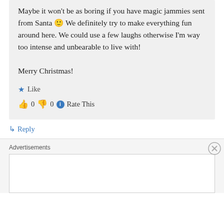Maybe it won't be as boring if you have magic jammies sent from Santa 🙂 We definitely try to make everything fun around here. We could use a few laughs otherwise I'm way too intense and unbearable to live with!

Merry Christmas!
★ Like
👍 0 👎 0 ⓘ Rate This
↳ Reply
Advertisements